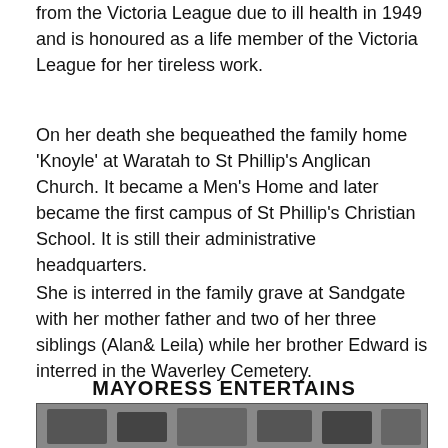from the Victoria League due to ill health in 1949 and is honoured as a life member of the Victoria League for her tireless work.
On her death she bequeathed the family home ‘Knoyle’ at Waratah to St Phillip’s Anglican Church. It became a Men’s Home and later became the first campus of St Phillip’s Christian School. It is still their administrative headquarters.
She is interred in the family grave at Sandgate with her mother father and two of her three siblings (Alan& Leila) while her brother Edward is interred in the Waverley Cemetery.
MAYORESS ENTERTAINS
[Figure (photo): Black and white newspaper photograph showing people at an event, partially visible at the bottom of the page.]